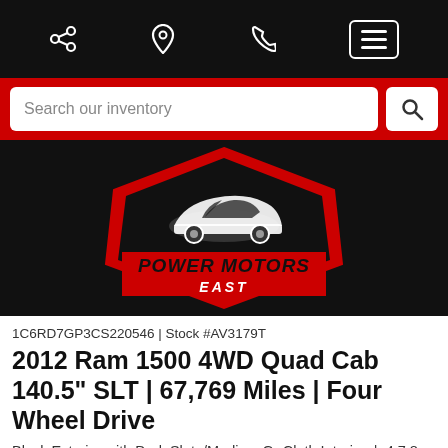Navigation bar with share, location, phone, and menu icons
Search our inventory
[Figure (logo): Power Motors East logo: a red hexagonal badge shape with a white sports car silhouette and the text POWER MOTORS EAST on a black background]
1C6RD7GP3CS220546 | Stock #AV3179T
2012 Ram 1500 4WD Quad Cab 140.5" SLT | 67,769 Miles | Four Wheel Drive
Black Exterior with Dark Slate/Medium Gr Cloth Interior  |  4.7 8 Cylinder Engine  |  Automatic Transmission
CALL FOR PRICE!  ☎ (516) 590-3800
$295 Monthly Finance this vehicle